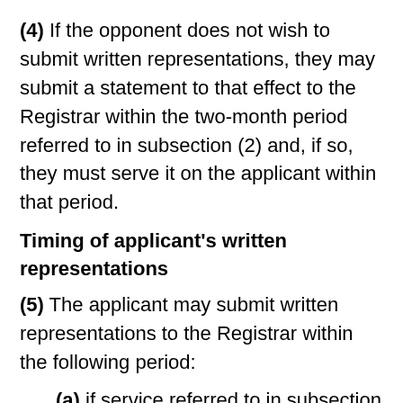(4) If the opponent does not wish to submit written representations, they may submit a statement to that effect to the Registrar within the two-month period referred to in subsection (2) and, if so, they must serve it on the applicant within that period.
Timing of applicant's written representations
(5) The applicant may submit written representations to the Registrar within the following period:
(a) if service referred to in subsection (3)